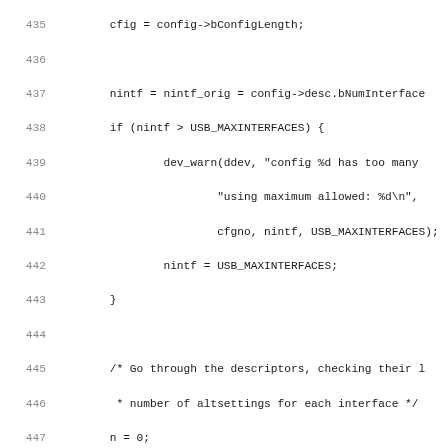[Figure (screenshot): Source code listing showing C code for USB descriptor parsing, lines 435-467, with line numbers on the left in gray and code in monospace font on white background.]